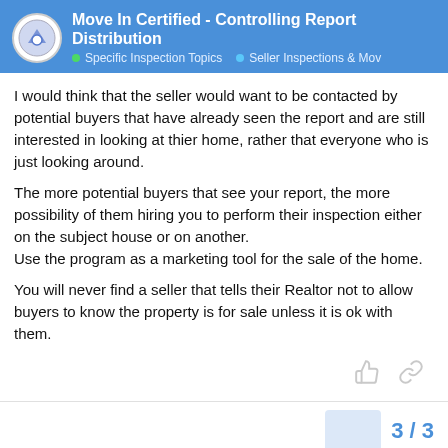Move In Certified - Controlling Report Distribution | Specific Inspection Topics | Seller Inspections & Mov
I would think that the seller would want to be contacted by potential buyers that have already seen the report and are still interested in looking at thier home, rather that everyone who is just looking around.
The more potential buyers that see your report, the more possibility of them hiring you to perform their inspection either on the subject house or on another.
Use the program as a marketing tool for the sale of the home.
You will never find a seller that tells their Realtor not to allow buyers to know the property is for sale unless it is ok with them.
3 / 3
Suggested Topics